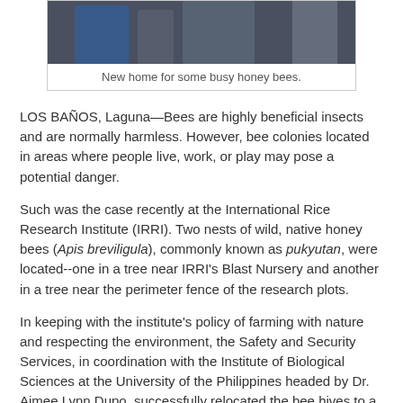[Figure (photo): Partial photo showing people near honey bee hives, cropped at top]
New home for some busy honey bees.
LOS BAÑOS, Laguna—Bees are highly beneficial insects and are normally harmless. However, bee colonies located in areas where people live, work, or play may pose a potential danger.
Such was the case recently at the International Rice Research Institute (IRRI). Two nests of wild, native honey bees (Apis breviligula), commonly known as pukyutan, were located--one in a tree near IRRI's Blast Nursery and another in a tree near the perimeter fence of the research plots.
In keeping with the institute's policy of farming with nature and respecting the environment, the Safety and Security Services, in coordination with the Institute of Biological Sciences at the University of the Philippines headed by Dr. Aimee Lynn Dupo, successfully relocated the bee hives to a safer location.